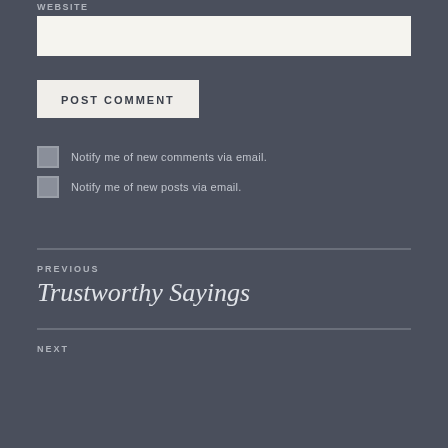WEBSITE
[Figure (other): Website text input field (empty, cream/off-white background)]
[Figure (other): POST COMMENT button (light background, uppercase bold text)]
Notify me of new comments via email.
Notify me of new posts via email.
PREVIOUS
Trustworthy Sayings
NEXT